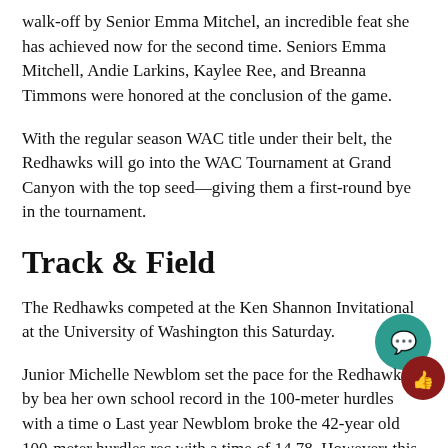walk-off by Senior Emma Mitchel, an incredible feat she has achieved now for the second time. Seniors Emma Mitchell, Andie Larkins, Kaylee Ree, and Breanna Timmons were honored at the conclusion of the game.
With the regular season WAC title under their belt, the Redhawks will go into the WAC Tournament at Grand Canyon with the top seed—giving them a first-round bye in the tournament.
Track & Field
The Redhawks competed at the Ken Shannon Invitational at the University of Washington this Saturday.
Junior Michelle Newblom set the pace for the Redhawks by bea her own school record in the 100-meter hurdles with a time o Last year Newblom broke the 42-year old 100-meter hurdles rec with a time of 14.78. However; this time was not officially reco as there was a 4 mph wind.